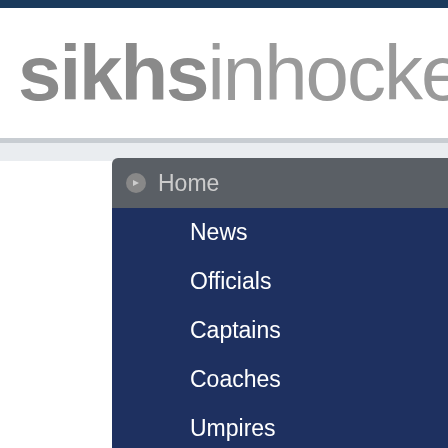[Figure (logo): sikhsinhockey website logo with bold 'sikhs' in dark gray and lighter 'inhockey' text]
Home
News
Officials
Captains
Coaches
Umpires
Olympic Games
World Cup
Australia
Canada
England